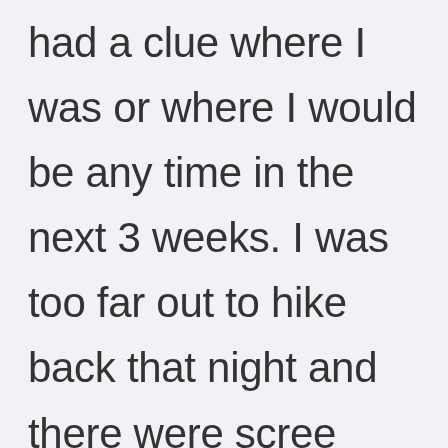nobody in the world had a clue where I was or where I would be any time in the next 3 weeks. I was too far out to hike back that night and there were scree slopes and other